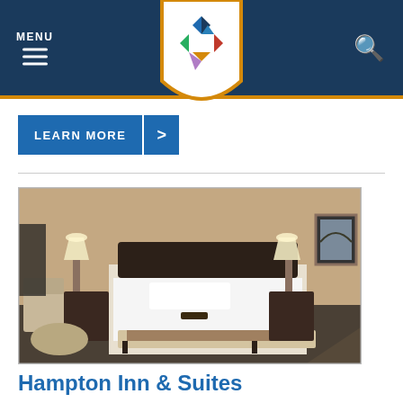MENU | [Logo] | [Search]
LEARN MORE >
[Figure (photo): Hotel room with a large bed with white linens, a bench at the foot of the bed, two nightstands with lamps, an armchair, a round ottoman, and a framed picture on the wall.]
Hampton Inn & Suites
580-254-5050
2814 Williams Ave
Woodward, OK 73801